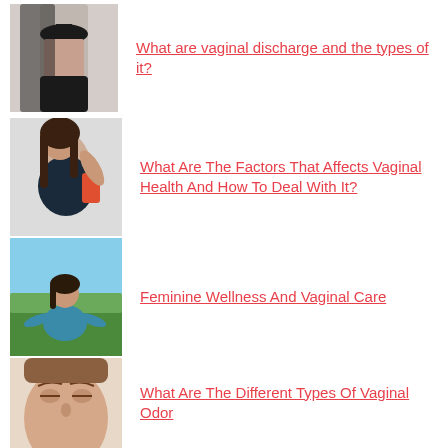What are vaginal discharge and the types of it?
What Are The Factors That Affects Vaginal Health And How To Deal With It?
Feminine Wellness And Vaginal Care
What Are The Different Types Of Vaginal Odor